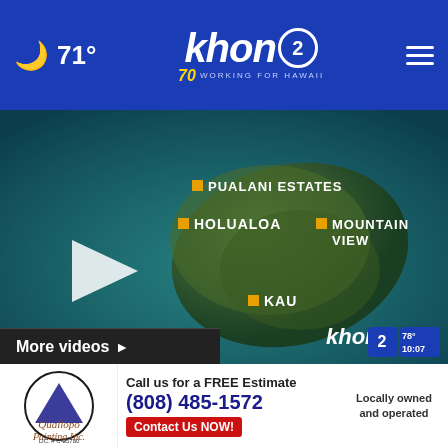71° khon2 WORKING FOR HAWAII 70 years
[Figure (screenshot): KHON2 weather map showing Big Island of Hawaii with location labels: PUALANI ESTATES, HOLUALOA, MOUNTAIN VIEW, KAU. Play button overlay. KHON2 watermark with 78° 10:07 in bottom right.]
[Figure (screenshot): Thumbnail: More wildcat sightings reported on Big Island - shows island map similar to main video. 4 hours ago.]
More wildcat sightings reported on Big Island
4 hours ago
[Figure (screenshot): Thumbnail: Justin Cruz's Weather Report 8-31-22 - shows anchor with THE WEEK AHEAD graphic and sun icons. 4 hours ago.]
Justin Cruz's Weather Report 8-31-22
4 hours ago
[Figure (screenshot): Partial thumbnail: What t... Museu... - partially visible third video thumbnail.]
More videos ▶
[Figure (infographic): Advertisement: Quallopo Painting Inc. Call us for a FREE Estimate (808) 485-1572 Contact Us NOW! Locally owned and operated. LIC. # C-25780]